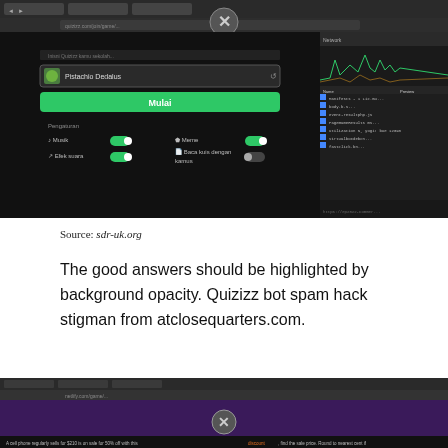[Figure (screenshot): Screenshot of a browser with Quizizz game interface showing 'Pistachio Dedalus' username and a developer tools panel open on the right showing network requests]
Source: sdr-uk.org
The good answers should be highlighted by background opacity. Quizizz bot spam hack stigman from atclosequarters.com.
[Figure (screenshot): Screenshot of a browser showing a Quizizz quiz question about a cell phone sale with a close/X overlay button visible]